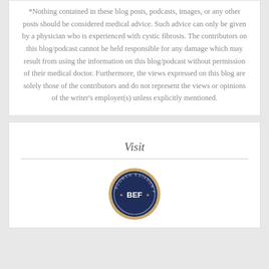*Nothing contained in these blog posts, podcasts, images, or any other posts should be considered medical advice. Such advice can only be given by a physician who is experienced with cystic fibrosis. The contributors on this blog/podcast cannot be held responsible for any damage which may result from using the information on this blog/podcast without permission of their medical doctor. Furthermore, the views expressed on this blog are solely those of the contributors and do not represent the views or opinions of the writer's employer(s) unless explicitly mentioned.
Visit
[Figure (logo): Boomer Esiason Foundation (BEF) circular seal/badge logo — dark navy blue circle with gold/tan border ring, white text 'BOOMER ESIASON FOUNDATION' around the circumference, and white 'BEF' text in the center with stars on each side.]